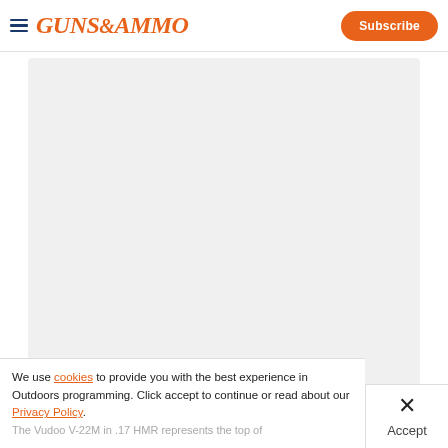Guns & Ammo — Subscribe
[Figure (other): Large white/light-gray advertisement placeholder box]
Advertisement
Vudoo V-22M Rimfire Rifle Review
The Vudoo V-22M in .17 HMR represents the top of
We use cookies to provide you with the best experience in Outdoors programming. Click accept to continue or read about our Privacy Policy.